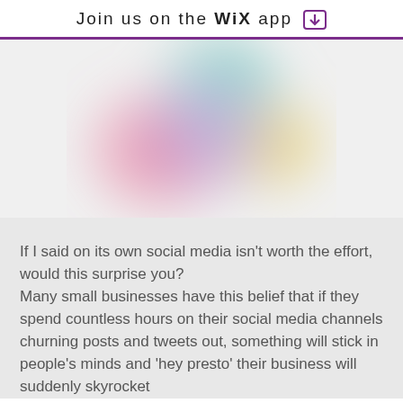Join us on the WiX app ⬇
[Figure (illustration): A blurred circular graphic with soft pastel colors including pink, green, teal, yellow, and purple blending together.]
If I said on its own social media isn't worth the effort, would this surprise you? Many small businesses have this belief that if they spend countless hours on their social media channels churning posts and tweets out, something will stick in people's minds and 'hey presto' their business will suddenly skyrocket